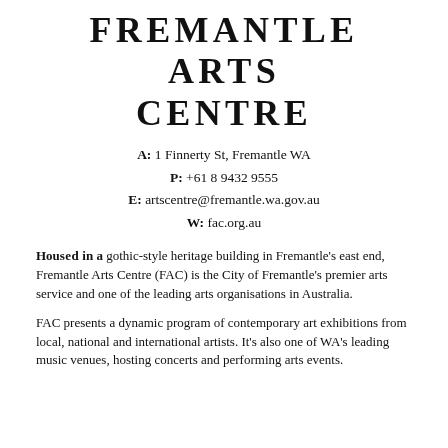FREMANTLE ARTS CENTRE
A: 1 Finnerty St, Fremantle WA
P: +61 8 9432 9555
E: artscentre@fremantle.wa.gov.au
W: fac.org.au
Housed in a gothic-style heritage building in Fremantle's east end, Fremantle Arts Centre (FAC) is the City of Fremantle's premier arts service and one of the leading arts organisations in Australia.
FAC presents a dynamic program of contemporary art exhibitions from local, national and international artists. It's also one of WA's leading music venues, hosting concerts and performing arts events.